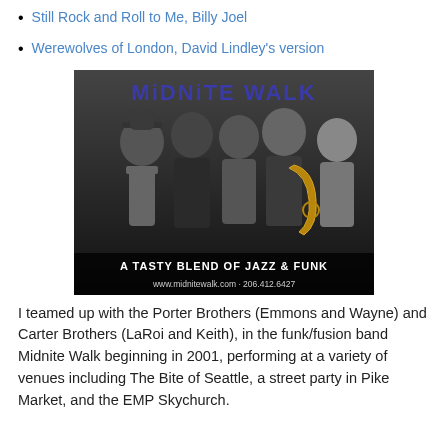Still Rock and Roll to Me, Billy Joel
Werewolves of London, David Lindley's version
[Figure (photo): Midnite Walk band promotional photo in black and white. Five men posed together, one holding a saxophone. Text reads 'MIDNITE WALK', 'A TASTY BLEND OF JAZZ & FUNK', 'www.midnitewalk.com - 206.412.6427']
I teamed up with the Porter Brothers (Emmons and Wayne) and Carter Brothers (LaRoi and Keith), in the funk/fusion band Midnite Walk beginning in 2001, performing at a variety of venues including The Bite of Seattle, a street party in Pike Market, and the EMP Skychurch.